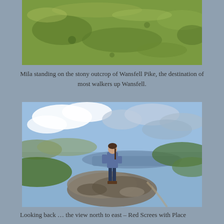[Figure (photo): Close-up view of green grassy hillside, top portion of Wansfell Pike showing grass and moorland texture]
Mila standing on the stony outcrop of Wansfell Pike, the destination of most walkers up Wansfell.
[Figure (photo): A girl (Mila) standing on a rocky outcrop at Wansfell Pike summit, with a panoramic view of a lake (Windermere) and green hills and cloudy sky behind her]
Looking back … the view north to east – Red Screes with Place